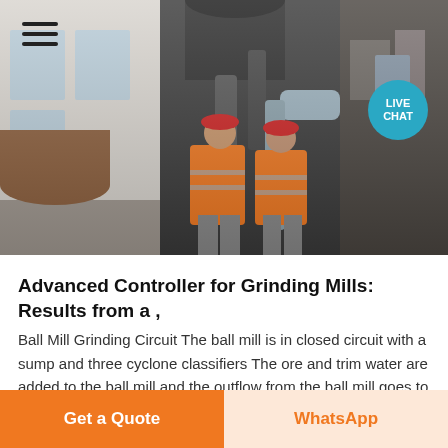[Figure (photo): Two industrial workers in orange high-visibility vests and red hard hats standing in front of large grinding mill machinery in an industrial facility.]
Advanced Controller for Grinding Mills: Results from a ,
Ball Mill Grinding Circuit The ball mill is in closed circuit with a sump and three cyclone classifiers The ore and trim water are added to the ball mill and the outflow from the ball mill goes to a sump where additional
Get a Quote | WhatsApp